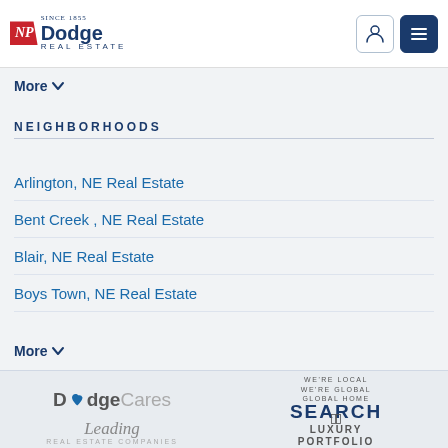NP Dodge Real Estate — Since 1855
More ∨
NEIGHBORHOODS
Arlington, NE Real Estate
Bent Creek , NE Real Estate
Blair, NE Real Estate
Boys Town, NE Real Estate
More ∨
[Figure (logo): DodgeCares logo with stylized heart]
[Figure (logo): We're Local We're Global — Global Home Search]
[Figure (logo): Leading Real Estate Companies script logo]
[Figure (logo): Luxury Portfolio logo with LP emblem]